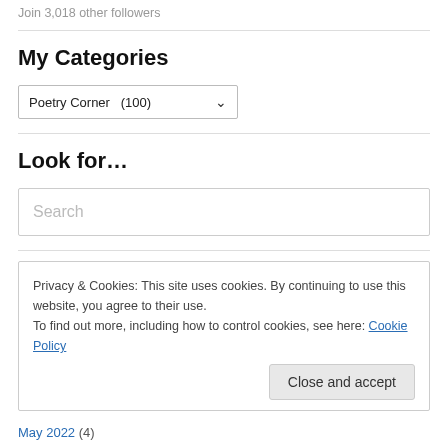Join 3,018 other followers
My Categories
Poetry Corner  (100)
Look for…
Search
Privacy & Cookies: This site uses cookies. By continuing to use this website, you agree to their use.
To find out more, including how to control cookies, see here: Cookie Policy
Close and accept
May 2022 (4)